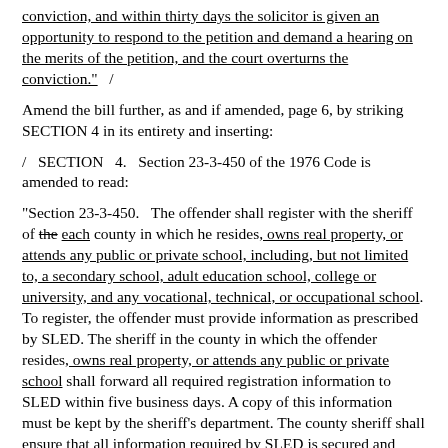conviction, and within thirty days the solicitor is given an opportunity to respond to the petition and demand a hearing on the merits of the petition, and the court overturns the conviction."   /
Amend the bill further, as and if amended, page 6, by striking SECTION 4 in its entirety and inserting:
/   SECTION   4.   Section 23-3-450 of the 1976 Code is amended to read:
"Section 23-3-450.   The offender shall register with the sheriff of the each county in which he resides, owns real property, or attends any public or private school, including, but not limited to, a secondary school, adult education school, college or university, and any vocational, technical, or occupational school. To register, the offender must provide information as prescribed by SLED. The sheriff in the county in which the offender resides, owns real property, or attends any public or private school shall forward all required registration information to SLED within five business days. A copy of this information must be kept by the sheriff's department. The county sheriff shall ensure that all information required by SLED is secured and shall establish specific times of the day during which an offender may register. An offender shall not be considered to have registered until all information prescribed by SLED has been provided to the sheriff. The sheriff in